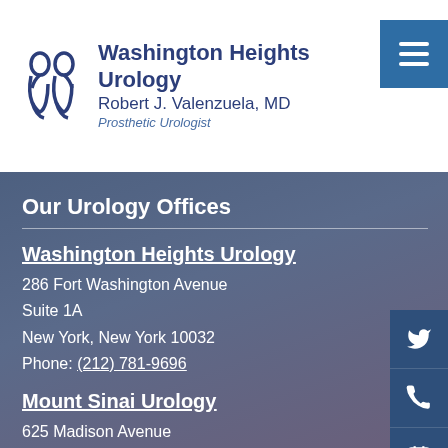Washington Heights Urology | Robert J. Valenzuela, MD | Prosthetic Urologist
Our Urology Offices
Washington Heights Urology
286 Fort Washington Avenue
Suite 1A
New York, New York 10032
Phone: (212) 781-9696
Mount Sinai Urology
625 Madison Avenue
New York, New York 10022